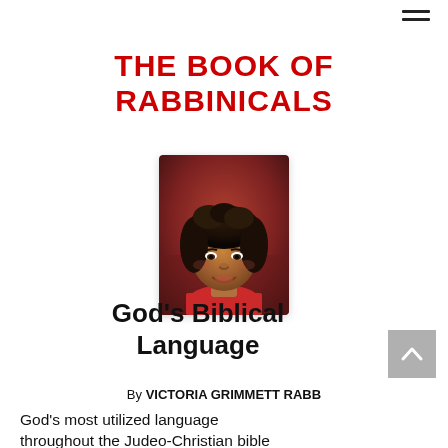THE BOOK OF RABBINICALS
[Figure (photo): Portrait photo of a Black woman with curly hair wearing a red top, smiling at the camera]
God's Biblical Language
By VICTORIA GRIMMETT RABB
God's most utilized language throughout the Judeo-Christian bible